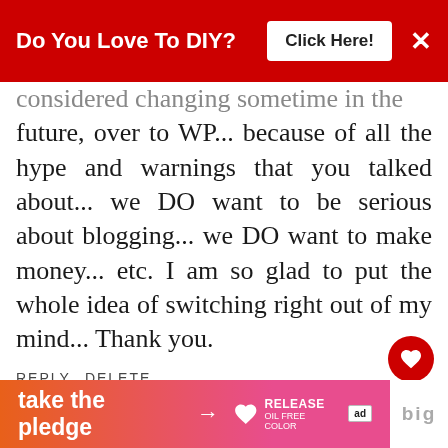Do You Love To DIY? Click Here!
considered changing sometime in the future, over to WP... because of all the hype and warnings that you talked about... we DO want to be serious about blogging... we DO want to make money... etc. I am so glad to put the whole idea of switching right out of my mind... Thank you.
REPLY DELETE
▼ REPLIES
Kim
[Figure (infographic): What's Next widget with image and text 'Why I Will Never Be A...']
[Figure (infographic): Bottom banner: take the pledge → RELEASE ad]